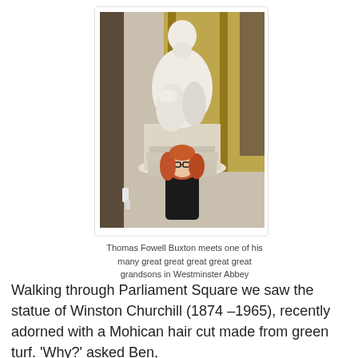[Figure (photo): A white marble statue of a seated robed figure (Thomas Fowell Buxton) in Westminster Abbey, with a red-haired child wearing glasses and black clothing standing in front of it.]
Thomas Fowell Buxton meets one of his many great great great great great grandsons in Westminster Abbey
Walking through Parliament Square we saw the statue of Winston Churchill (1874 –1965), recently adorned with a Mohican hair cut made from green turf. 'Why?' asked Ben,